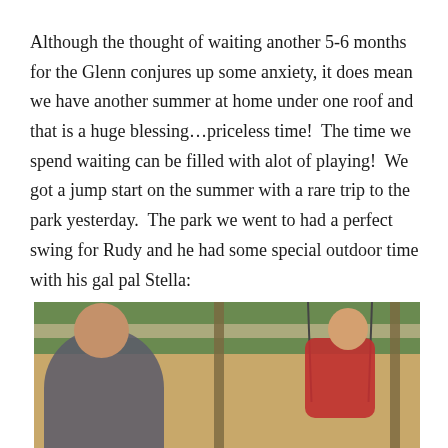Although the thought of waiting another 5-6 months for the Glenn conjures up some anxiety, it does mean we have another summer at home under one roof and that is a huge blessing…priceless time!  The time we spend waiting can be filled with alot of playing!  We got a jump start on the summer with a rare trip to the park yesterday.  The park we went to had a perfect swing for Rudy and he had some special outdoor time with his gal pal Stella:
[Figure (photo): Two children at a playground with swings. One child is seated in a swing on the left, another child (in a red jacket) is in a swing on the right. Background shows a sandy playground area, wooden fence posts, and green grass/trees.]